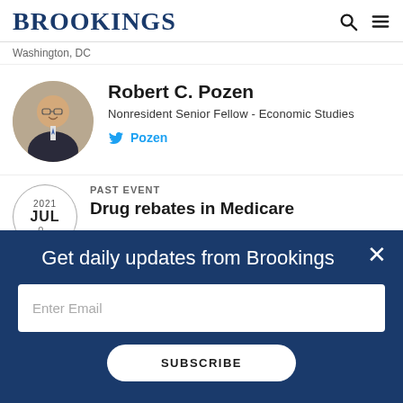BROOKINGS
Washington, DC
Robert C. Pozen
Nonresident Senior Fellow - Economic Studies
Pozen
PAST EVENT
Drug rebates in Medicare
Get daily updates from Brookings
Enter Email
SUBSCRIBE